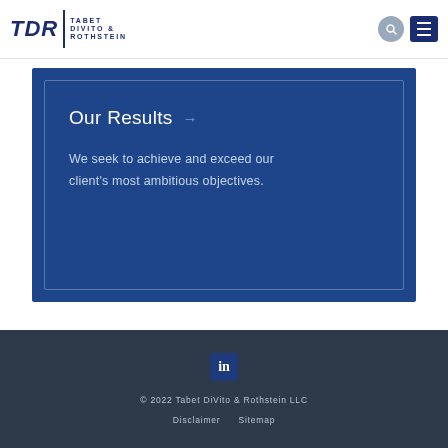[Figure (logo): TDR Tabet DiVito & Rothstein law firm logo with search and menu icons in header]
Our Results →
We seek to achieve and exceed our client's most ambitious objectives.
[Figure (logo): LinkedIn icon in footer]
© 2022 Tabet DiVito & Rothstein LLC  Disclaimer  Sitemap